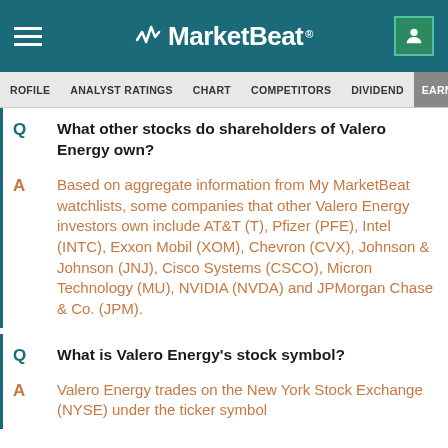MarketBeat
PROFILE  ANALYST RATINGS  CHART  COMPETITORS  DIVIDEND  EARNINGS
Q  What other stocks do shareholders of Valero Energy own?
A  Based on aggregate information from My MarketBeat watchlists, some companies that other Valero Energy investors own include AT&T (T), Pfizer (PFE), Intel (INTC), Exxon Mobil (XOM), Chevron (CVX), Johnson & Johnson (JNJ), Cisco Systems (CSCO), Micron Technology (MU), NVIDIA (NVDA) and JPMorgan Chase & Co. (JPM).
Q  What is Valero Energy's stock symbol?
A  Valero Energy trades on the New York Stock Exchange (NYSE) under the ticker symbol